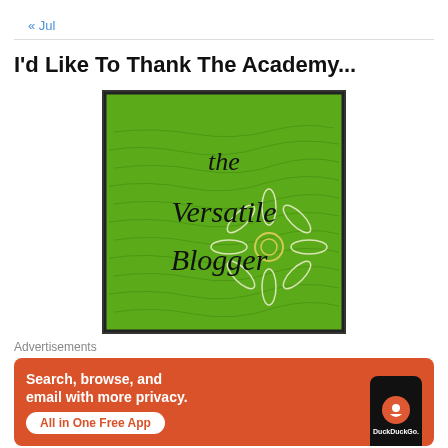« Jul
I'd Like To Thank The Academy...
[Figure (illustration): The Versatile Blogger award badge — green background with handwritten-style text reading 'the Versatile Blogger' and a white flower drawing in the lower right corner]
Advertisements
[Figure (infographic): DuckDuckGo advertisement banner on orange-red background. Text: 'Search, browse, and email with more privacy.' with button 'All in One Free App' and a phone showing DuckDuckGo logo]